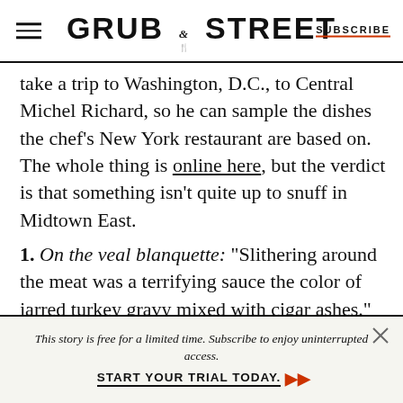GRUB STREET | SUBSCRIBE
take a trip to Washington, D.C., to Central Michel Richard, so he can sample the dishes the chef’s New York restaurant are based on. The whole thing is online here, but the verdict is that something isn’t quite up to snuff in Midtown East.
1. On the veal blanquette: “Slithering around the meat was a terrifying sauce the color of jarred turkey gravy mixed with cigar ashes.”
This story is free for a limited time. Subscribe to enjoy uninterrupted access. START YOUR TRIAL TODAY.